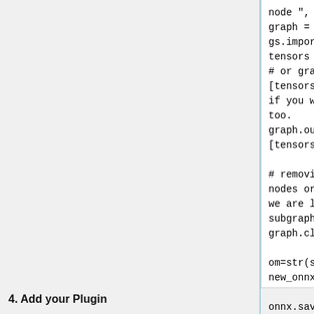[Figure (screenshot): Code block showing Python script for ONNX graph manipulation including importing, setting outputs, cleanup, and saving]
4. Add your Plugin